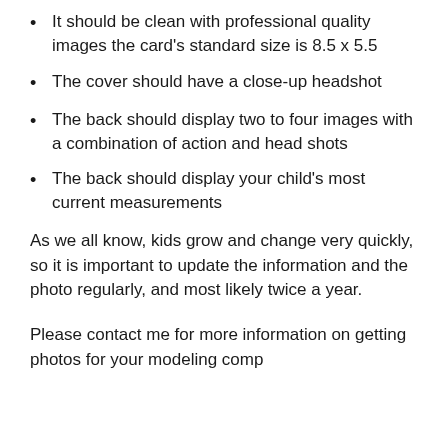It should be clean with professional quality images the card's standard size is 8.5 x 5.5
The cover should have a close-up headshot
The back should display two to four images with a combination of action and head shots
The back should display your child's most current measurements
As we all know, kids grow and change very quickly, so it is important to update the information and the photo regularly, and most likely twice a year.
Please contact me for more information on getting photos for your modeling comp